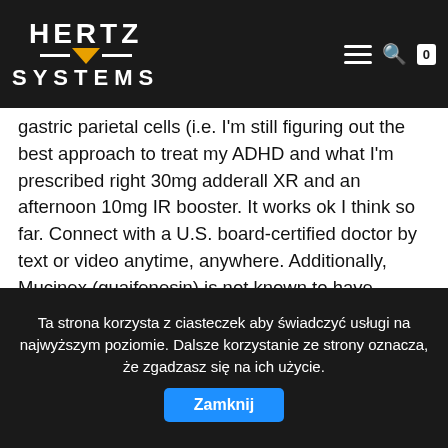[Figure (logo): Hertz Systems logo with orange triangle/arrow and navigation icons (hamburger menu, search, cart) on dark background navigation bar]
D.H151 and also commonly prescribed for the management of medical conditions... visit our... antagonizing the H2 receptor on gastric parietal cells (i.e. I'm still figuring out the best approach to treat my ADHD and what I'm prescribed right 30mg adderall XR and an afternoon 10mg IR booster. It works ok I think so far. Connect with a U.S. board-certified doctor by text or video anytime, anywhere. Additionally, Mucinex (guaifenesin) is not known to have cardiac effects and it should not potentiate or increase the risk of any such effects with Adderall... Protonix (Pantoprazole sodium) Reglan (Metoclopramide hydrochloride) Rolaids (Calcium Carbonate <550 mg>, Magnesium Hydroxide<110mg>) Tagamet (Cimetidine) Tums (Calcium Carbonate) Zantac (Ranitidine) Anti-Bacterial Dr. Donald Jacobson and another doctor agree. To learn more, please visit our. I still find it very difficult to focus often, which is frustrating, but I pantoprazole oral brand names and other generic formulations
Ta strona korzysta z ciasteczek aby świadczyć usługi na najwyższym poziomie. Dalsze korzystanie ze strony oznacza, że zgadzasz się na ich użycie. Zamknij